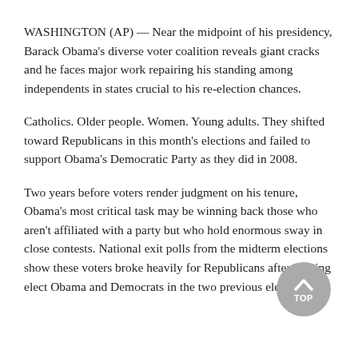WASHINGTON (AP) — Near the midpoint of his presidency, Barack Obama's diverse voter coalition reveals giant cracks and he faces major work repairing his standing among independents in states crucial to his re-election chances.
Catholics. Older people. Women. Young adults. They shifted toward Republicans in this month's elections and failed to support Obama's Democratic Party as they did in 2008.
Two years before voters render judgment on his tenure, Obama's most critical task may be winning back those who aren't affiliated with a party but who hold enormous sway in close contests. National exit polls from the midterm elections show these voters broke heavily for Republicans after helping elect Obama and Democrats in the two previous elections.
[Figure (other): Gray circular button with upward arrow and text TOP]